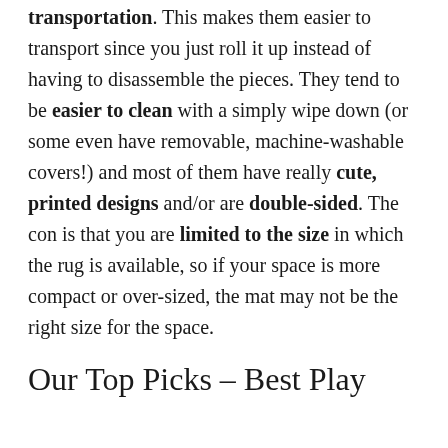transportation. This makes them easier to transport since you just roll it up instead of having to disassemble the pieces. They tend to be easier to clean with a simply wipe down (or some even have removable, machine-washable covers!) and most of them have really cute, printed designs and/or are double-sided. The con is that you are limited to the size in which the rug is available, so if your space is more compact or over-sized, the mat may not be the right size for the space.
Our Top Picks – Best Play